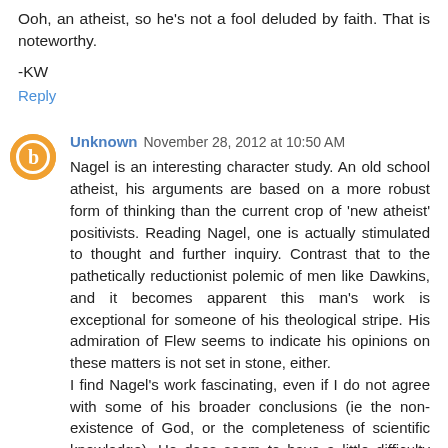Ooh, an atheist, so he's not a fool deluded by faith. That is noteworthy.
-KW
Reply
Unknown  November 28, 2012 at 10:50 AM
Nagel is an interesting character study. An old school atheist, his arguments are based on a more robust form of thinking than the current crop of 'new atheist' positivists. Reading Nagel, one is actually stimulated to thought and further inquiry. Contrast that to the pathetically reductionist polemic of men like Dawkins, and it becomes apparent this man's work is exceptional for someone of his theological stripe. His admiration of Flew seems to indicate his opinions on these matters is not set in stone, either.
I find Nagel's work fascinating, even if I do not agree with some of his broader conclusions (ie the non-existence of God, or the completeness of scientific knowledge). He does seem to have a little difficulty shaking off the constraints of